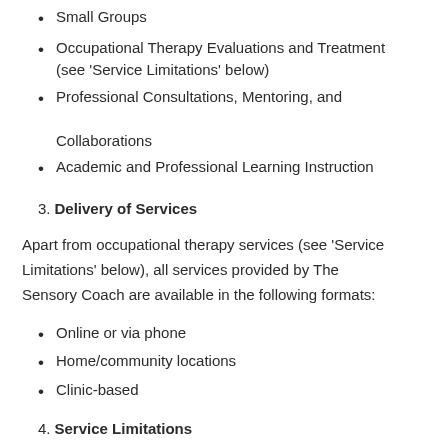Small Groups
Occupational Therapy Evaluations and Treatment (see 'Service Limitations' below)
Professional Consultations, Mentoring, and Collaborations
Academic and Professional Learning Instruction
3. Delivery of Services
Apart from occupational therapy services (see 'Service Limitations' below), all services provided by The Sensory Coach are available in the following formats:
Online or via phone
Home/community locations
Clinic-based
4. Service Limitations